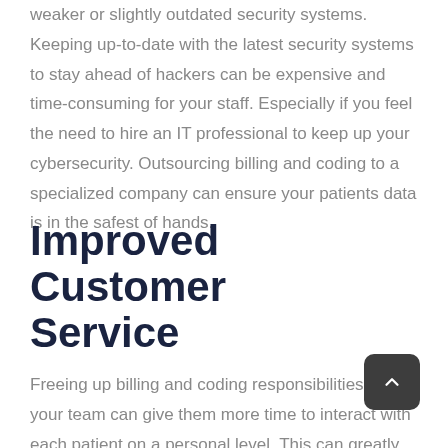weaker or slightly outdated security systems. Keeping up-to-date with the latest security systems to stay ahead of hackers can be expensive and time-consuming for your staff. Especially if you feel the need to hire an IT professional to keep up your cybersecurity. Outsourcing billing and coding to a specialized company can ensure your patients data is in the safest of hands.
Improved Customer Service
Freeing up billing and coding responsibilities for your team can give them more time to interact with each patient on a personal level. This can greatly improve